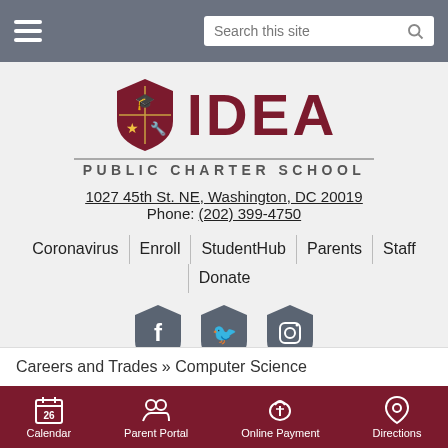Search this site
[Figure (logo): IDEA Public Charter School logo with shield containing graduation cap, star, and wrench]
1027 45th St. NE, Washington, DC 20019
Phone: (202) 399-4750
Coronavirus | Enroll | StudentHub | Parents | Staff | Donate
[Figure (illustration): Social media icons: Facebook, Twitter, Instagram (dark shield-shaped)]
[Figure (other): Google Translate widget: G logo, Select Language, dropdown arrow]
Careers and Trades » Computer Science
Calendar | Parent Portal | Online Payment | Directions